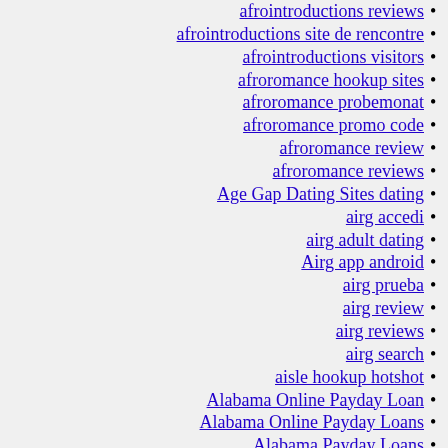afrointroductions reviews
afrointroductions site de rencontre
afrointroductions visitors
afroromance hookup sites
afroromance probemonat
afroromance promo code
afroromance review
afroromance reviews
Age Gap Dating Sites dating
airg accedi
airg adult dating
Airg app android
airg prueba
airg review
airg reviews
airg search
aisle hookup hotshot
Alabama Online Payday Loan
Alabama Online Payday Loans
Alabama Payday Loans
Alaska Best Online Payday Loans
Alaska Payday Loans Online
Alaska Payday Loans Online Same Day
Alg
allied cash advance i need a payday loan immediately